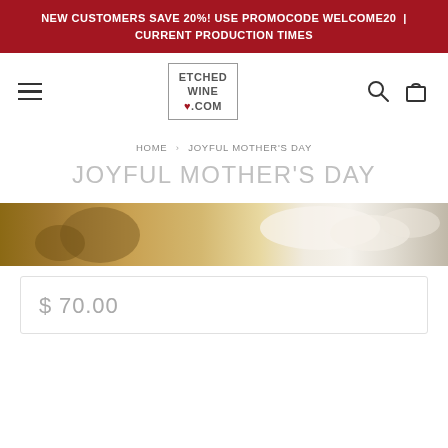NEW CUSTOMERS SAVE 20%! USE PROMOCODE WELCOME20 | CURRENT PRODUCTION TIMES
[Figure (logo): EtchedWine.com logo with heart icon inside a bordered box]
HOME > JOYFUL MOTHER'S DAY
JOYFUL MOTHER'S DAY
[Figure (photo): Close-up product photo showing a wine bottle, wooden surface, and white flowers]
$ 70.00